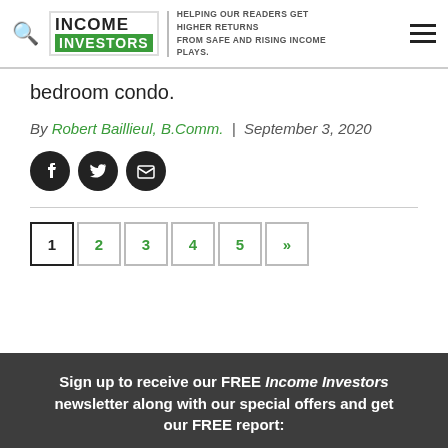Income Investors — Helping our readers get higher returns from safe and rising income plays.
bedroom condo.
By Robert Baillieul, B.Comm. | September 3, 2020
[Figure (other): Social sharing icons: Facebook, Twitter, Email]
1 2 3 4 5 »
Sign up to receive our FREE Income Investors newsletter along with our special offers and get our FREE report: